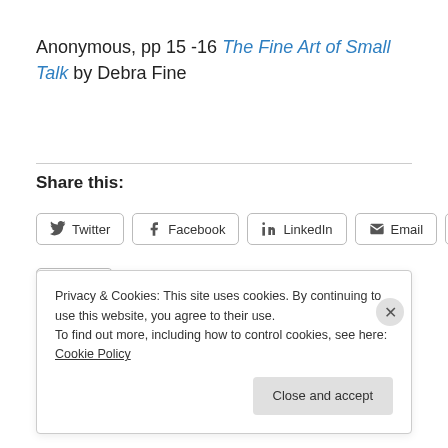Anonymous, pp 15 -16 The Fine Art of Small Talk by Debra Fine
Share this:
Twitter  Facebook  LinkedIn  Email  Pinterest  Print
Privacy & Cookies: This site uses cookies. By continuing to use this website, you agree to their use.
To find out more, including how to control cookies, see here: Cookie Policy
Close and accept